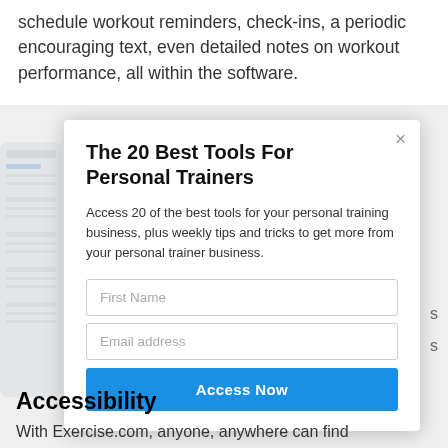schedule workout reminders, check-ins, a periodic encouraging text, even detailed notes on workout performance, all within the software.
[Figure (screenshot): Partial screenshot of a mobile phone/app interface on the left side]
The 20 Best Tools For Personal Trainers
Access 20 of the best tools for your personal training business, plus weekly tips and tricks to get more from your personal trainer business.
First Name
Email address
Access Now
Accessibility
With Exercise.com, anyone, anywhere can find